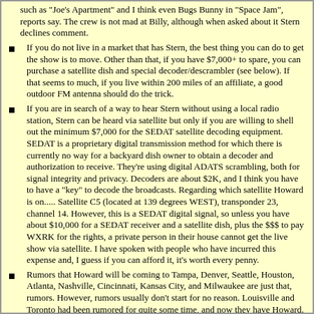such as "Joe's Apartment" and I think even Bugs Bunny in "Space Jam", reports say. The crew is not mad at Billy, although when asked about it Stern declines comment.
If you do not live in a market that has Stern, the best thing you can do to get the show is to move. Other than that, if you have $7,000+ to spare, you can purchase a satellite dish and special decoder/descrambler (see below). If that seems to much, if you live within 200 miles of an affiliate, a good outdoor FM antenna should do the trick.
If you are in search of a way to hear Stern without using a local radio station, Stern can be heard via satellite but only if you are willing to shell out the minimum $7,000 for the SEDAT satellite decoding equipment. SEDAT is a proprietary digital transmission method for which there is currently no way for a backyard dish owner to obtain a decoder and authorization to receive. They're using digital ADATS scrambling, both for signal integrity and privacy. Decoders are about $2K, and I think you have to have a "key" to decode the broadcasts. Regarding which satellite Howard is on..... Satellite C5 (located at 139 degrees WEST), transponder 23, channel 14. However, this is a SEDAT digital signal, so unless you have about $10,000 for a SEDAT receiver and a satellite dish, plus the $$$ to pay WXRK for the rights, a private person in their house cannot get the live show via satellite. I have spoken with people who have incurred this expense and, I guess if you can afford it, it's worth every penny.
Rumors that Howard will be coming to Tampa, Denver, Seattle, Houston, Atlanta, Nashville, Cincinnati, Kansas City, and Milwaukee are just that, rumors. However, rumors usually don't start for no reason. Louisville and Toronto had been rumored for quite some time, and now they have Howard.
The newsletter that is a semi-Private Post are ... and February 25th...